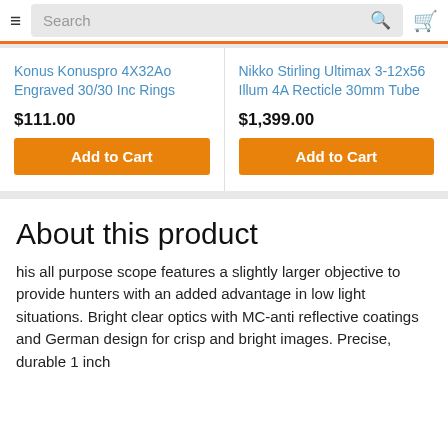Search
Konus Konuspro 4X32Ao Engraved 30/30 Inc Rings
$111.00
Add to Cart
Nikko Stirling Ultimax 3-12x56 Illum 4A Recticle 30mm Tube
$1,399.00
Add to Cart
About this product
his all purpose scope features a slightly larger objective to provide hunters with an added advantage in low light situations. Bright clear optics with MC-anti reflective coatings and German design for crisp and bright images. Precise, durable 1 inch